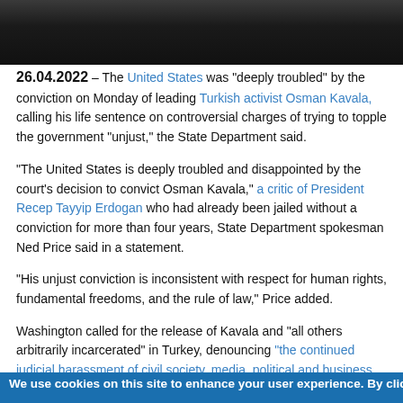[Figure (photo): Dark photograph of people, partially visible at top of page]
26.04.2022 – The United States was "deeply troubled" by the conviction on Monday of leading Turkish activist Osman Kavala, calling his life sentence on controversial charges of trying to topple the government "unjust," the State Department said.
"The United States is deeply troubled and disappointed by the court's decision to convict Osman Kavala," a critic of President Recep Tayyip Erdogan who had already been jailed without a conviction for more than four years, State Department spokesman Ned Price said in a statement.
"His unjust conviction is inconsistent with respect for human rights, fundamental freedoms, and the rule of law," Price added.
Washington called for the release of Kavala and "all others arbitrarily incarcerated" in Turkey, denouncing "the continued judicial harassment of civil society, media, political and business leaders in Turkey."
A leading figure in Turkey's civil society, 64-year-old Kavala was accused of financing protests against then-prime minister Erdogan's government during large-scale protests in 2013 and involvement in a failed military coup in 2016. Monday's ruling only covered the case stemming from the
We use cookies on this site to enhance your user experience. By clicking